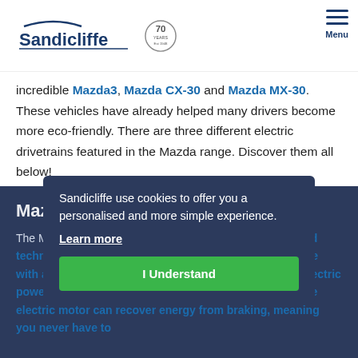Sandicliffe — 70 Years Est 1948 — Menu
incredible Mazda3, Mazda CX-30 and Mazda MX-30. These vehicles have already helped many drivers become more eco-friendly. There are three different electric drivetrains featured in the Mazda range. Discover them all below!
Mazda M Hybrid Cars
The M Hybrid is available on the Mazda3, and Mazda... hybrid technology combines a conventional combustion engine with a powerful electric battery and motor. This helps ... electric power is supporting the engine with running the car. The electric motor can recover energy from braking, meaning you never have to
Sandicliffe use cookies to offer you a personalised and more simple experience.
Learn more
I Understand